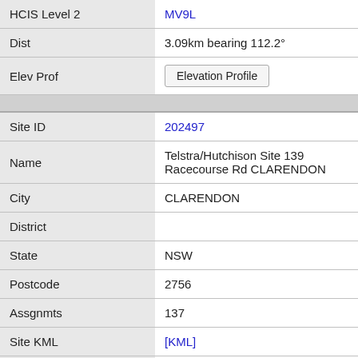| Field | Value |
| --- | --- |
| HCIS Level 2 | MV9L |
| Dist | 3.09km bearing 112.2° |
| Elev Prof | Elevation Profile |
| Site ID | 202497 |
| Name | Telstra/Hutchison Site 139 Racecourse Rd CLARENDON |
| City | CLARENDON |
| District |  |
| State | NSW |
| Postcode | 2756 |
| Assgnmts | 137 |
| Site KML | [KML] |
| HCIS Level 2 | MV9L |
| Dist | 3.30km bearing 260.7° |
| Elev Prof | Elevation Profile |
| Site ID | 9022566 |
| Name | NBN Co Test Trailer (Svd 7) within 12 km of 139 |